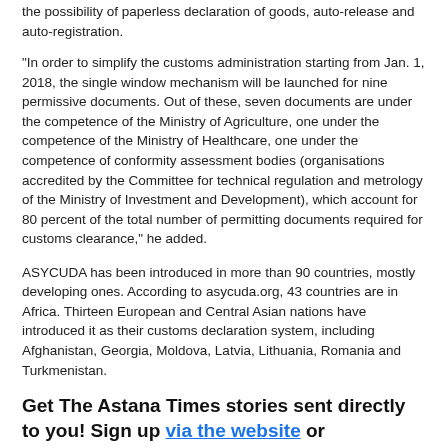the possibility of paperless declaration of goods, auto-release and auto-registration.
“In order to simplify the customs administration starting from Jan. 1, 2018, the single window mechanism will be launched for nine permissive documents. Out of these, seven documents are under the competence of the Ministry of Agriculture, one under the competence of the Ministry of Healthcare, one under the competence of conformity assessment bodies (organisations accredited by the Committee for technical regulation and metrology of the Ministry of Investment and Development), which account for 80 percent of the total number of permitting documents required for customs clearance,” he added.
ASYCUDA has been introduced in more than 90 countries, mostly developing ones. According to asycuda.org, 43 countries are in Africa. Thirteen European and Central Asian nations have introduced it as their customs declaration system, including Afghanistan, Georgia, Moldova, Latvia, Lithuania, Romania and Turkmenistan.
Get The Astana Times stories sent directly to you! Sign up via the website or